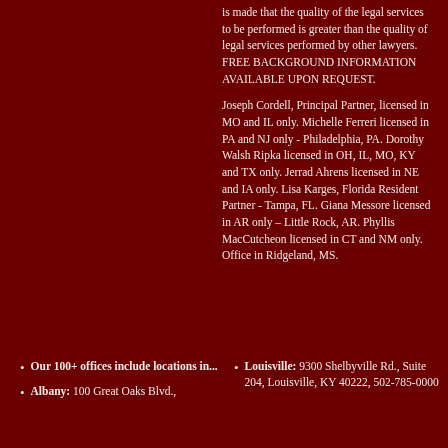is made that the quality of the legal services to be performed is greater than the quality of legal services performed by other lawyers. FREE BACKGROUND INFORMATION AVAILABLE UPON REQUEST.
Joseph Cordell, Principal Partner, licensed in MO and IL only. Michelle Ferreri licensed in PA and NJ only - Philadelphia, PA. Dorothy Walsh Ripka licensed in OH, IL, MO, KY and TX only. Jerrad Ahrens licensed in NE and IA only. Lisa Karges, Florida Resident Partner - Tampa, FL. Giana Messore licensed in AR only – Little Rock, AR. Phyllis MacCutcheon licensed in CT and NM only. Office in Ridgeland, MS.
Our 100+ offices include locations in...
Albany: 100 Great Oaks Blvd.,
Louisville: 9300 Shelbyville Rd., Suite 204, Louisville, KY 40222, 502-785-0000